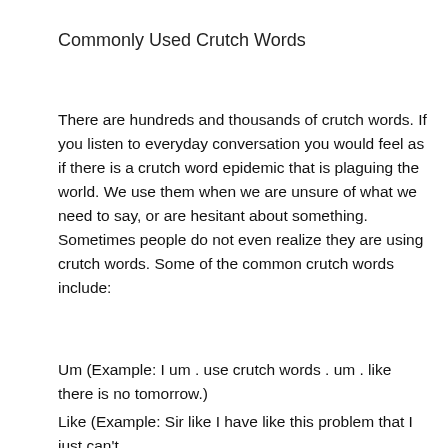Commonly Used Crutch Words
There are hundreds and thousands of crutch words. If you listen to everyday conversation you would feel as if there is a crutch word epidemic that is plaguing the world. We use them when we are unsure of what we need to say, or are hesitant about something. Sometimes people do not even realize they are using crutch words. Some of the common crutch words include:
Um (Example: I um . use crutch words . um . like there is no tomorrow.)
Like (Example: Sir like I have like this problem that I just can't like stop using crutch words.)
You know (Example: Crutch words are like . you know. easy ways to fill a sentence.)
Ok (Example: I know this..ok. Or Yes, I will see you later..ok.)
Fantastic (Note: Literally means coming from fantasy or imagination. Unless speaking about vampires and